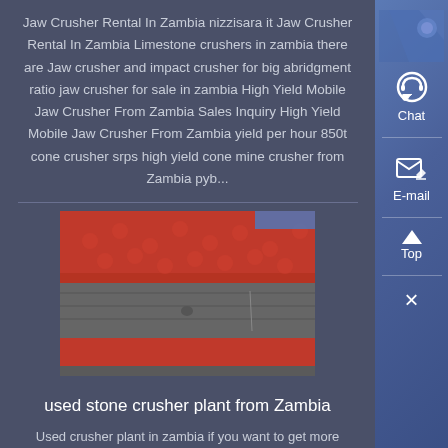Jaw Crusher Rental In Zambia nizzisara it Jaw Crusher Rental In Zambia Limestone crushers in zambia there are Jaw crusher and impact crusher for big abridgment ratio jaw crusher for sale in zambia High Yield Mobile Jaw Crusher From Zambia Sales Inquiry High Yield Mobile Jaw Crusher From Zambia yield per hour 850t cone crusher srps high yield cone mine crusher from Zambia pyb...
[Figure (photo): Industrial crusher screen/mesh component showing red metal grating and metal frame parts]
used stone crusher plant from Zambia
Used crusher plant in zambia if you want to get more detailed product information and prices zme recommend that you get in touch with us through online chat stone crusher hire zambia india used stone crushing machine in zambia jaw crusher for sale zambia all of the stone crushing portable stone crusher in lusaka zambia...